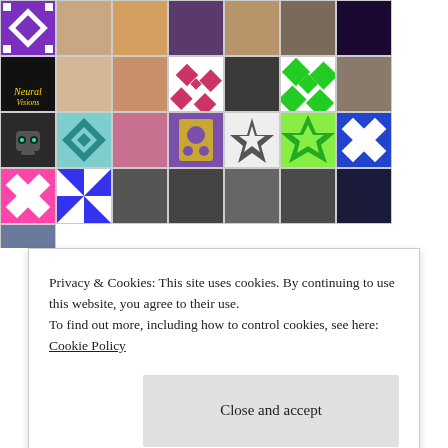[Figure (other): Grid of user avatar images and patterned tiles arranged in rows, showing profile photos and decorative quilt-like patterns in various colors]
Privacy & Cookies: This site uses cookies. By continuing to use this website, you agree to their use.
To find out more, including how to control cookies, see here: Cookie Policy
Close and accept